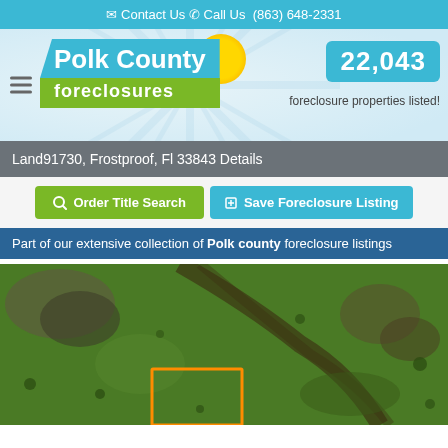✉ Contact Us ✆ Call Us (863) 648-2331
[Figure (logo): Polk County Foreclosures logo with sunburst background, teal and green color scheme]
22,043 foreclosure properties listed!
Land91730, Frostproof, Fl 33843 Details
Order Title Search
Save Foreclosure Listing
Part of our extensive collection of Polk county foreclosure listings
[Figure (photo): Aerial satellite view of land parcel in Frostproof, FL with orange rectangular boundary marker]